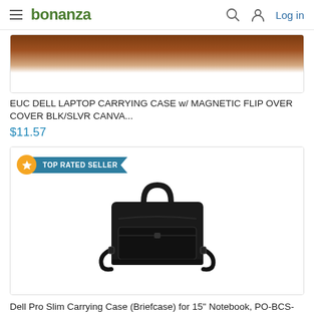bonanza — Log in
[Figure (photo): Partial product image (top cropped) of a Dell laptop carrying case]
EUC DELL LAPTOP CARRYING CASE w/ MAGNETIC FLIP OVER COVER BLK/SLVR CANVA...
$11.57
[Figure (photo): Dell Pro Slim Carrying Case (Briefcase) for 15 inch Notebook, black bag with handle and shoulder strap, shown on white background. Has a TOP RATED SELLER badge.]
Dell Pro Slim Carrying Case (Briefcase) for 15" Notebook, PO-BCS-15-20